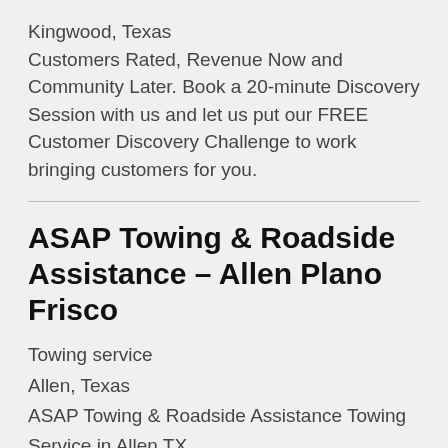Kingwood, Texas
Customers Rated, Revenue Now and Community Later. Book a 20-minute Discovery Session with us and let us put our FREE Customer Discovery Challenge to work bringing customers for you.
ASAP Towing & Roadside Assistance – Allen Plano Frisco
Towing service
Allen, Texas
ASAP Towing & Roadside Assistance Towing Service in Allen TX